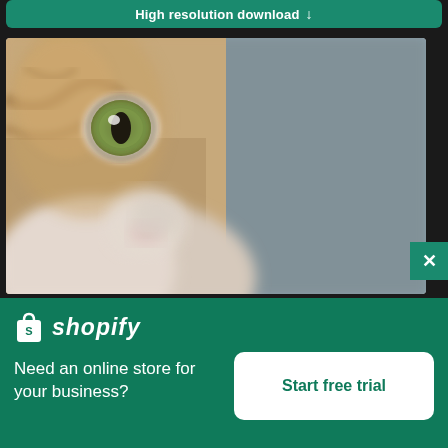High resolution download ↓
[Figure (photo): Close-up blurry photo of a cat face, showing one green eye prominently on the left side, with white fur and a pink nose visible, and a grey blurred background on the right]
[Figure (logo): Shopify logo with shopping bag icon and 'shopify' wordmark in white on green background]
Need an online store for your business?
Start free trial